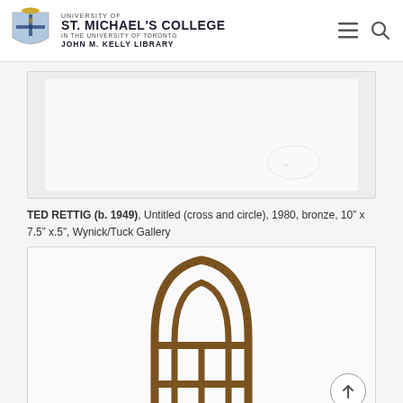[Figure (logo): University of St. Michael's College in the University of Toronto, John M. Kelly Library logo with shield/crest]
[Figure (photo): Top image panel showing artwork - mostly white/blank with subtle watermark-like impression]
TED RETTIG (b. 1949), Untitled (cross and circle), 1980, bronze, 10” x 7.5” x.5”, Wynick/Tuck Gallery
[Figure (photo): Bronze sculpture of a pointed arch/gothic window shape with cross dividers, brown patina, by Ted Rettig]